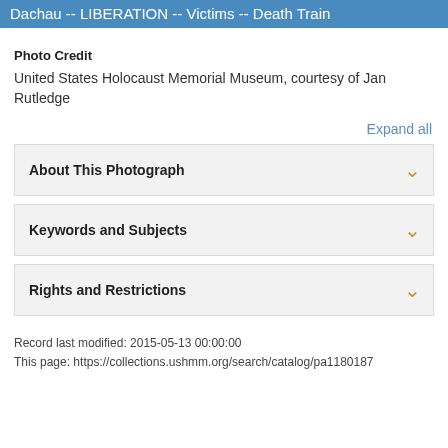Dachau -- LIBERATION -- Victims -- Death Train
Photo Credit
United States Holocaust Memorial Museum, courtesy of Jan Rutledge
Expand all
About This Photograph
Keywords and Subjects
Rights and Restrictions
Record last modified: 2015-05-13 00:00:00
This page: https://collections.ushmm.org/search/catalog/pa1180187